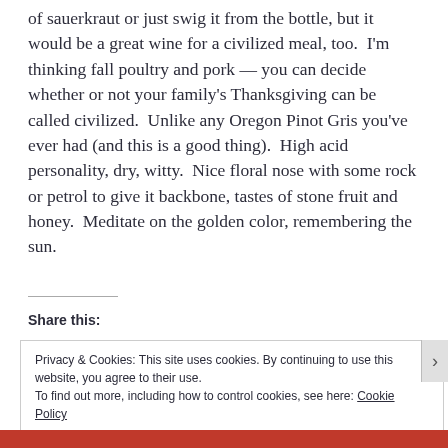of sauerkraut or just swig it from the bottle, but it would be a great wine for a civilized meal, too.  I'm thinking fall poultry and pork — you can decide whether or not your family's Thanksgiving can be called civilized.  Unlike any Oregon Pinot Gris you've ever had (and this is a good thing).  High acid personality, dry, witty.  Nice floral nose with some rock or petrol to give it backbone, tastes of stone fruit and honey.  Meditate on the golden color, remembering the sun.
Share this:
Privacy & Cookies: This site uses cookies. By continuing to use this website, you agree to their use.
To find out more, including how to control cookies, see here: Cookie Policy
Close and accept